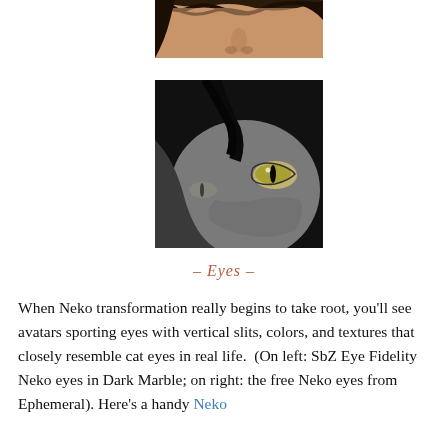[Figure (photo): Top portion of a 3D rendered face showing forehead, nose area with brown hair, skin-toned face — cropped view of upper face]
[Figure (photo): Close-up of a 3D rendered face with black hair, pale grey skin, and cat-like green/yellow eyes with vertical slit pupils — Neko avatar eyes]
– Eyes –
When Neko transformation really begins to take root, you'll see avatars sporting eyes with vertical slits, colors, and textures that closely resemble cat eyes in real life.  (On left: SbZ Eye Fidelity Neko eyes in Dark Marble; on right: the free Neko eyes from Ephemeral). Here's a handy Neko